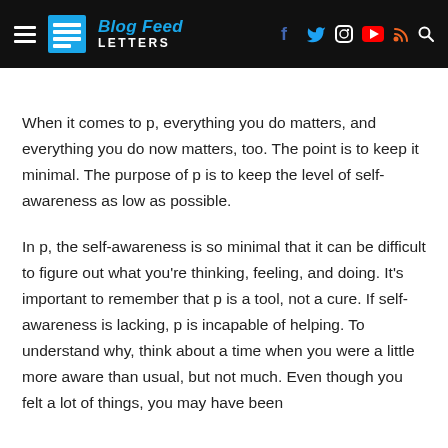Blog Feed Letters — navigation bar with logo, hamburger menu, and social icons
When it comes to p, everything you do matters, and everything you do now matters, too. The point is to keep it minimal. The purpose of p is to keep the level of self-awareness as low as possible.
In p, the self-awareness is so minimal that it can be difficult to figure out what you're thinking, feeling, and doing. It's important to remember that p is a tool, not a cure. If self-awareness is lacking, p is incapable of helping. To understand why, think about a time when you were a little more aware than usual, but not much. Even though you felt a lot of things, you may have been